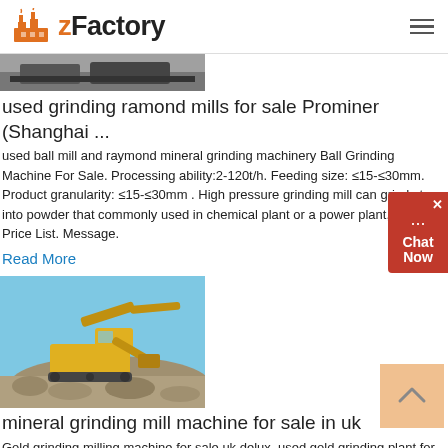zFactory
[Figure (photo): Top strip showing partial view of industrial grinding/mining machinery, partially cropped]
used grinding ramond mills for sale Prominer (Shanghai ...
used ball mill and raymond mineral grinding machinery Ball Grinding Machine For Sale. Processing ability:2-120t/h. Feeding size: ≤15-≤30mm. Product granularity: ≤15-≤30mm . High pressure grinding mill can grind stone into powder that commonly used in chemical plant or a power plant, etc. Get Price List. Message.
Read More
[Figure (photo): Yellow excavator/mining machine working on a gravel pile against a blue sky]
mineral grinding mill machine for sale in uk
Gold grinding milling machine for sale uk delux. used gold grinding plant for sale uk lagdlaussurrein ch Mineral Grinding Mill Machine Used For Sale In Uk Grinding Plant For Sale Used Second Hand Ball Mill A ball mill a t